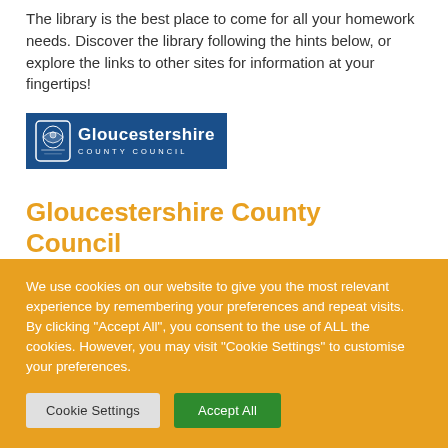The library is the best place to come for all your homework needs. Discover the library following the hints below, or explore the links to other sites for information at your fingertips!
[Figure (logo): Gloucestershire County Council logo — blue background with white shield emblem and white text reading 'Gloucestershire' with 'COUNTY COUNCIL' in small caps below]
Gloucestershire County Council
(partially visible text below section header)
We use cookies on our website to give you the most relevant experience by remembering your preferences and repeat visits. By clicking "Accept All", you consent to the use of ALL the cookies. However, you may visit "Cookie Settings" to customise your preferences.